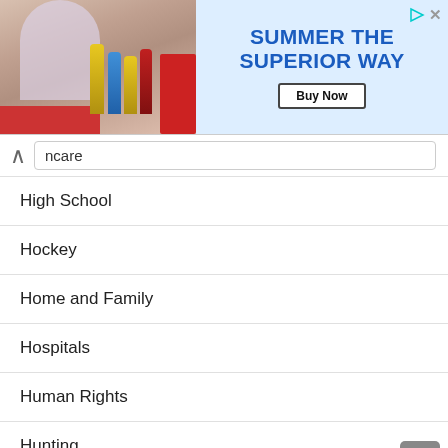[Figure (screenshot): Advertisement banner showing a person holding a beer bottle with text 'SUMMER THE SUPERIOR WAY' and a 'Buy Now' button]
ncare
High School
Hockey
Home and Family
Hospitals
Human Rights
Hunting
Hunting
Industry
Infectious Diseases